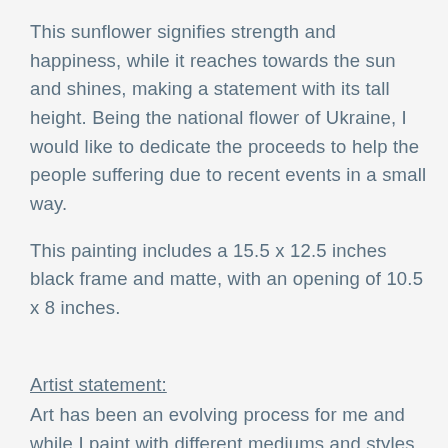This sunflower signifies strength and happiness, while it reaches towards the sun and shines, making a statement with its tall height. Being the national flower of Ukraine, I would like to dedicate the proceeds to help the people suffering due to recent events in a small way.
This painting includes a 15.5 x 12.5 inches black frame and matte, with an opening of 10.5 x 8 inches.
Artist statement:
Art has been an evolving process for me and while I paint with different mediums and styles, I am particularly drawn to abstract art which allows me to express myself more freely with no limitations